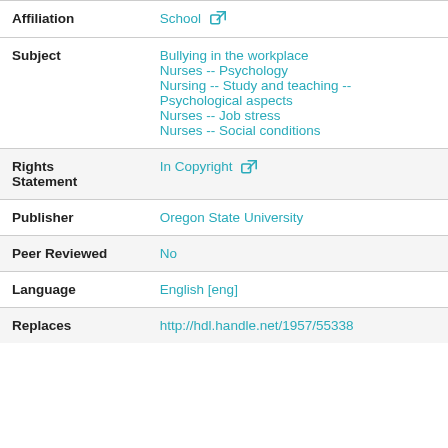| Field | Value |
| --- | --- |
| Affiliation | School [external link] |
| Subject | Bullying in the workplace
Nurses -- Psychology
Nursing -- Study and teaching -- Psychological aspects
Nurses -- Job stress
Nurses -- Social conditions |
| Rights Statement | In Copyright [external link] |
| Publisher | Oregon State University |
| Peer Reviewed | No |
| Language | English [eng] |
| Replaces | http://hdl.handle.net/1957/55338 |